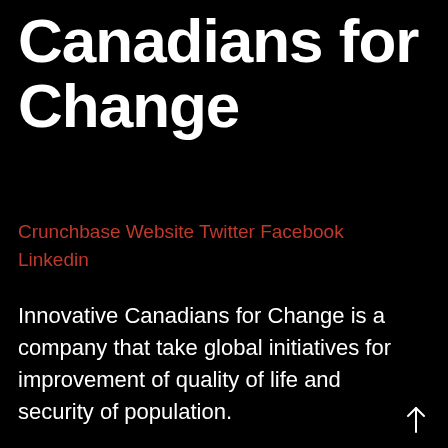Canadians for Change
Crunchbase Website Twitter Facebook Linkedin
Innovative Canadians for Change is a company that take global initiatives for improvement of quality of life and security of population.